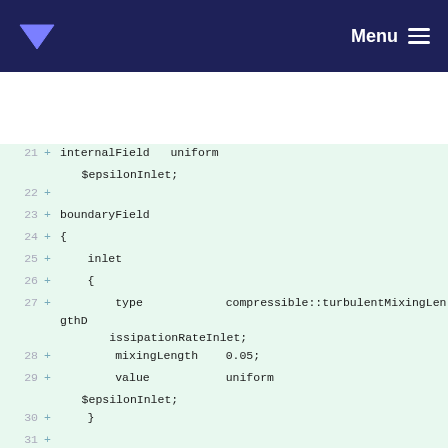Menu
[Figure (screenshot): Code diff view showing lines 21-35 of an OpenFOAM boundary condition configuration file with green background indicating added lines. Lines show internalField, boundaryField setup with inlet (compressible::turbulentMixingLengthDissipationRateInlet) and outlet (inletOutlet) boundary conditions.]